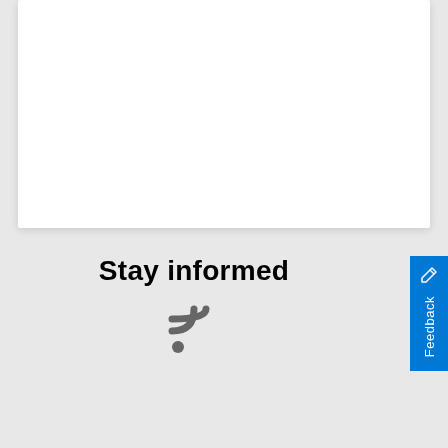[Figure (other): White card panel at top of page]
Stay informed
[Figure (other): RSS feed icon in gray]
[Figure (other): Blue vertical Feedback tab with pencil icon on right edge]